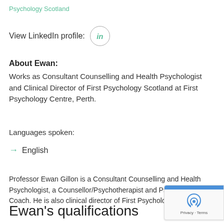Psychology Scotland
View LinkedIn profile:
About Ewan:
Works as Consultant Counselling and Health Psychologist and Clinical Director of First Psychology Scotland at First Psychology Centre, Perth.
Languages spoken:
English
Professor Ewan Gillon is a Consultant Counselling and Health Psychologist, a Counsellor/Psychotherapist and Psychological Coach. He is also clinical director of First Psychology Scotland.
Ewan's qualifications